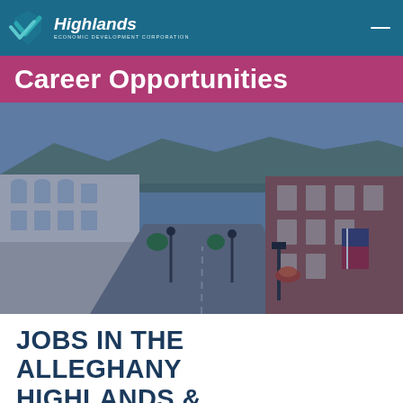Highlands Economic Development Corporation
Career Opportunities
[Figure (photo): Aerial view of a small-town main street with historic buildings, decorative street lights, hanging flower baskets, parked cars, and mountains visible in the background. Blue tint overlay applied.]
JOBS IN THE ALLEGHANY HIGHLANDS &